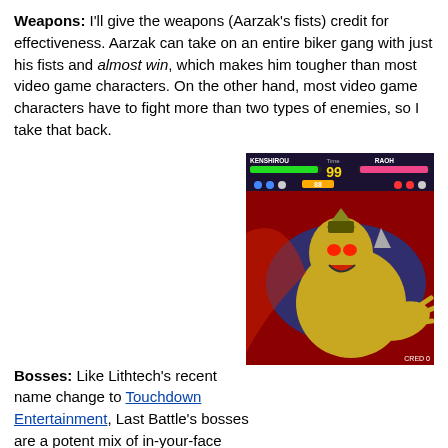Weapons: I'll give the weapons (Aarzak's fists) credit for effectiveness. Aarzak can take on an entire biker gang with just his fists and almost win, which makes him tougher than most video game characters. On the other hand, most video game characters have to fight more than two types of enemies, so I take that back.
Bosses: Like Lithtech's recent name change to Touchdown Entertainment, Last Battle's bosses are a potent mix of in-your-face attitude and incredible lameness. I should probably put a warning here that if you like fighting games or even gaming in general, the following screenshots will make you cry: 1 2 3
[Figure (screenshot): Screenshot from a fighting game (Punch Mania: Hokuto No Ken) showing two characters with health bars labeled KENSHIROU and RAOH, with a TIME counter of 99 and CRED 0. The main visual is a comic-style image of an armored villain character lunging forward.]
Defining Moment: Right: One of the fighters in Punch Mania: Hokuto No Ken challenges players to unleash the bare-chested fury of the Hundred Crack Fist of the North Star and other amazing martial arts moves. Meanwhile, here I am being chased by 4 flying axes through some depressed, underpaid Sega artist's idea of a room. Maybe it was just the large dose of illegal substances I had to